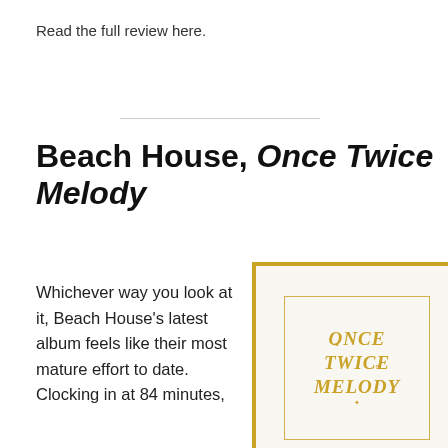Read the full review here.
Beach House, Once Twice Melody
Whichever way you look at it, Beach House's latest album feels like their most mature effort to date. Clocking in at 84 minutes,
[Figure (photo): Album cover for Beach House's Once Twice Melody — white background with gold border and ornate gold lettering reading ONCE TWICE MELODY inside a gold rectangular frame]